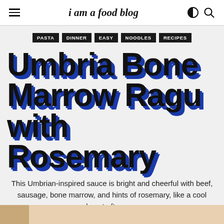i am a food blog
PASTA
DINNER
EASY
NOODLES
RECIPES
Umbria Bone Marrow Ragu with Rosemary
This Umbrian-inspired sauce is bright and cheerful with beef, sausage, bone marrow, and hints of rosemary, like a cool desert afternoon.
Posted July 5, 2020 by Mike